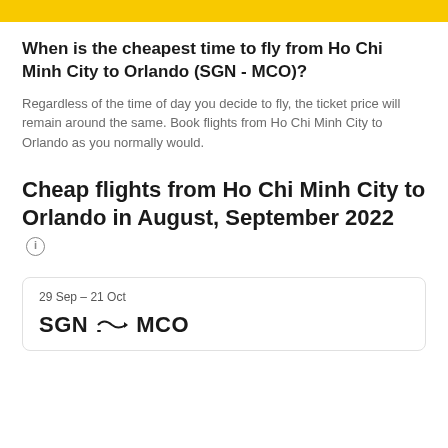When is the cheapest time to fly from Ho Chi Minh City to Orlando (SGN - MCO)?
Regardless of the time of day you decide to fly, the ticket price will remain around the same. Book flights from Ho Chi Minh City to Orlando as you normally would.
Cheap flights from Ho Chi Minh City to Orlando in August, September 2022
29 Sep – 21 Oct
SGN → MCO